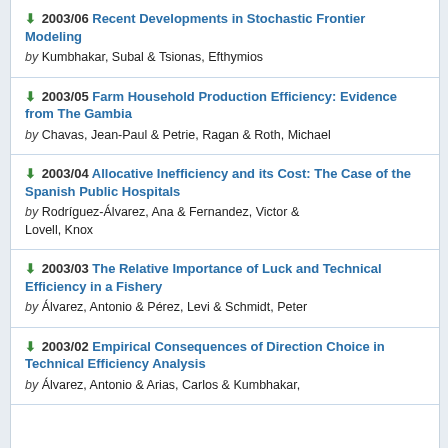2003/06 Recent Developments in Stochastic Frontier Modeling by Kumbhakar, Subal & Tsionas, Efthymios
2003/05 Farm Household Production Efficiency: Evidence from The Gambia by Chavas, Jean-Paul & Petrie, Ragan & Roth, Michael
2003/04 Allocative Inefficiency and its Cost: The Case of the Spanish Public Hospitals by Rodríguez-Álvarez, Ana & Fernandez, Victor & Lovell, Knox
2003/03 The Relative Importance of Luck and Technical Efficiency in a Fishery by Álvarez, Antonio & Pérez, Levi & Schmidt, Peter
2003/02 Empirical Consequences of Direction Choice in Technical Efficiency Analysis by Álvarez, Antonio & Arias, Carlos & Kumbhakar,